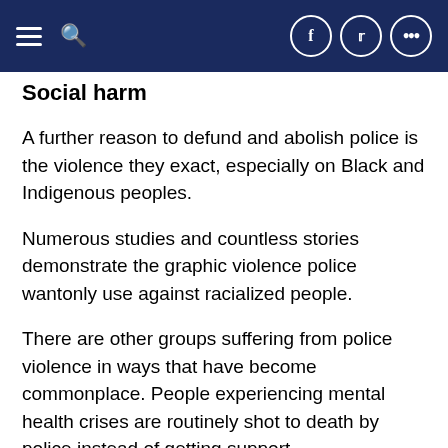Social harm article header with navigation icons
Social harm
A further reason to defund and abolish police is the violence they exact, especially on Black and Indigenous peoples.
Numerous studies and countless stories demonstrate the graphic violence police wantonly use against racialized people.
There are other groups suffering from police violence in ways that have become commonplace. People experiencing mental health crises are routinely shot to death by police instead of getting support.
Medical doctors and nurses in the U.S. and Canada tired